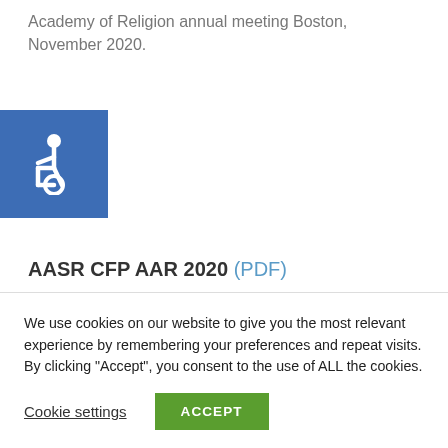Academy of Religion annual meeting Boston, November 2020.
[Figure (illustration): Blue square with white wheelchair accessibility icon]
AASR CFP AAR 2020 (PDF)
Share this:
[Figure (infographic): Four circular social share icons: Facebook (f), Twitter (bird), Pinterest (p), Email (envelope)]
We use cookies on our website to give you the most relevant experience by remembering your preferences and repeat visits. By clicking “Accept”, you consent to the use of ALL the cookies.
Cookie settings
ACCEPT